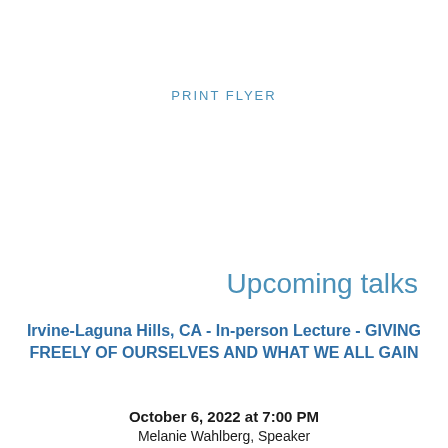PRINT FLYER
Upcoming talks
Irvine-Laguna Hills, CA - In-person Lecture - GIVING FREELY OF OURSELVES AND WHAT WE ALL GAIN
October 6, 2022 at 7:00 PM
Melanie Wahlberg, Speaker